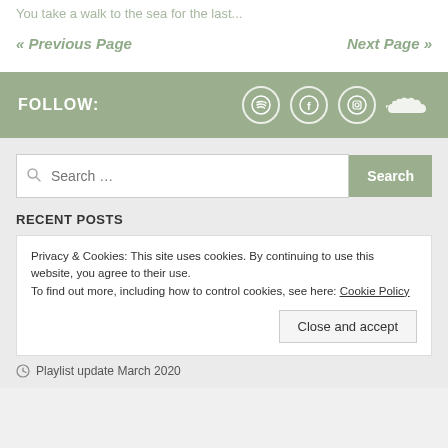You take a walk to the sea for the last...
« Previous Page
Next Page »
FOLLOW:
[Figure (infographic): Social media icons: Spotify, Facebook, Instagram, SoundCloud]
Search …
RECENT POSTS
Privacy & Cookies: This site uses cookies. By continuing to use this website, you agree to their use.
To find out more, including how to control cookies, see here: Cookie Policy
Close and accept
Playlist update March 2020